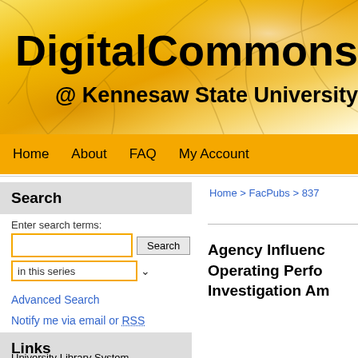[Figure (screenshot): DigitalCommons @ Kennesaw State University website header with golden autumn tree background image]
DigitalCommons
@ Kennesaw State University
Home   About   FAQ   My Account
Search
Enter search terms:
in this series
Advanced Search
Notify me via email or RSS
Links
University Library System
Home > FacPubs > 837
Agency Influenc Operating Perfo Investigation Am